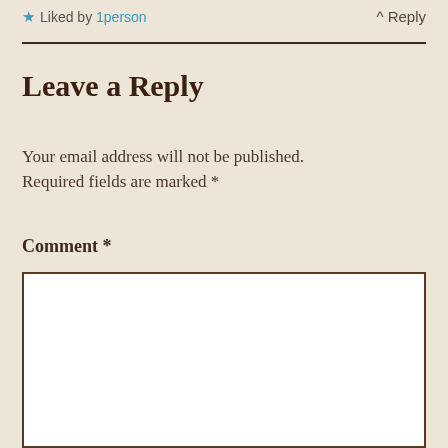★ Liked by 1person
^ Reply
Leave a Reply
Your email address will not be published. Required fields are marked *
Comment *